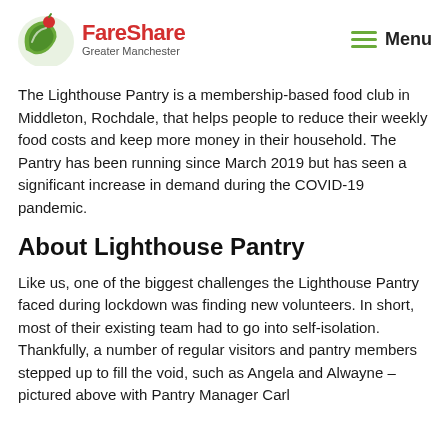FareShare Greater Manchester | Menu
The Lighthouse Pantry is a membership-based food club in Middleton, Rochdale, that helps people to reduce their weekly food costs and keep more money in their household. The Pantry has been running since March 2019 but has seen a significant increase in demand during the COVID-19 pandemic.
About Lighthouse Pantry
Like us, one of the biggest challenges the Lighthouse Pantry faced during lockdown was finding new volunteers. In short, most of their existing team had to go into self-isolation. Thankfully, a number of regular visitors and pantry members stepped up to fill the void, such as Angela and Alwayne – pictured above with Pantry Manager Carl